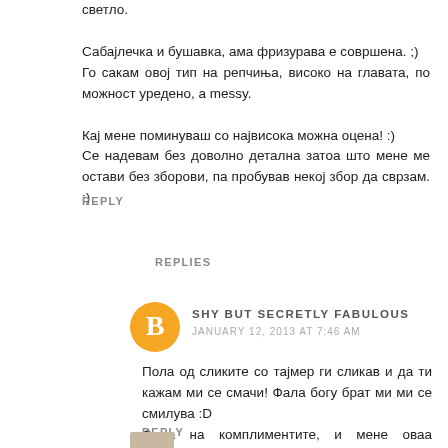светло.

Сабајлечка и бушавка, ама фризурава е совршена. ;)
Го сакам овој тип на репчиња, високо на главата, по можност уредено, а messy.

Кај мене поминуваш со највисока можна оцена! :)
Се надевам без доволно детална затоа што мене ме остави без зборови, па пробував некој збор да сврзам. :)
REPLY
REPLIES
SHY BUT SECRETLY FABULOUS
JANUARY 12, 2013 AT 7:46 AM
Пола од сликите со тајмер ги сликав и да ти кажам ми се смачи! Фала богу брат ми ми се смилува :D
Фала на комплиментите, и мене оваа комбинација ми е една од поомилените :D
REPLY